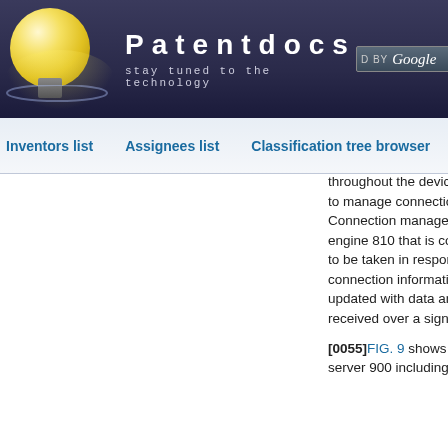[Figure (logo): Patentdocs website header with lightbulb logo, site title 'Patentdocs', tagline 'stay tuned to the technology', and Google search box with Search button]
Inventors list | Assignees list | Classification tree browser
throughout the device, which in combination serve to manage connection of the device to networks. Connection manager 808 may include a rules engine 810 that is configured to determine actions to be taken in response to received network connection information. Rules engine may be updated with data and/or rules via information received over a signaling channel of a network.
[0055]FIG. 9 shows one embodiment a provisioning server 900 including various modules which...